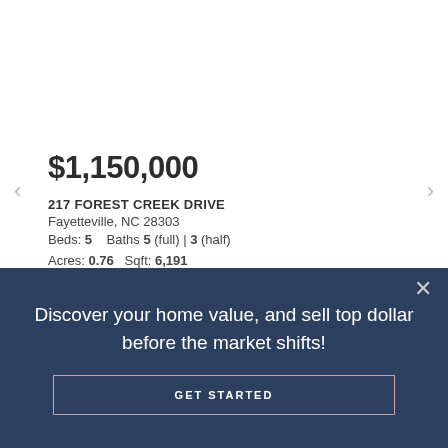[Figure (photo): Aerial/front view of a large brick house with gray roof, circular driveway, green lawn and trees]
$1,150,000
217 FOREST CREEK DRIVE
Fayetteville, NC 28303
Beds: 5    Baths 5 (full) | 3 (half)
Acres: 0.76    Sqft: 6,191
Discover your home value, and sell top dollar before the market shifts!
GET STARTED